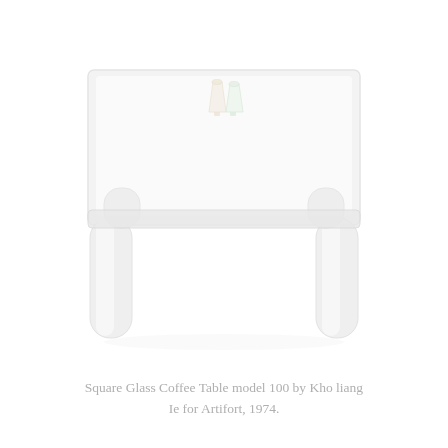[Figure (photo): A square glass coffee table (model 100) with thick transparent glass legs and top surface, viewed from a slight angle. Two small decorative glass vessels (wine/cocktail glasses) sit on the tabletop. The entire table appears nearly transparent/white against a white background.]
Square Glass Coffee Table model 100 by Kho liang Ie for Artifort, 1974.